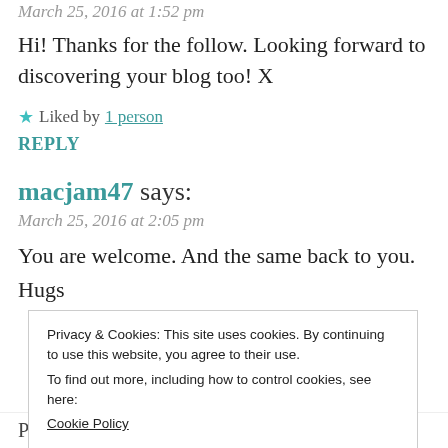March 25, 2016 at 1:52 pm
Hi! Thanks for the follow. Looking forward to discovering your blog too! X
★ Liked by 1 person
REPLY
macjam47 says:
March 25, 2016 at 2:05 pm
You are welcome. And the same back to you.
Hugs
Privacy & Cookies: This site uses cookies. By continuing to use this website, you agree to their use. To find out more, including how to control cookies, see here: Cookie Policy
Close and accept
Pingback: Wine Book Tag | Michele, Books